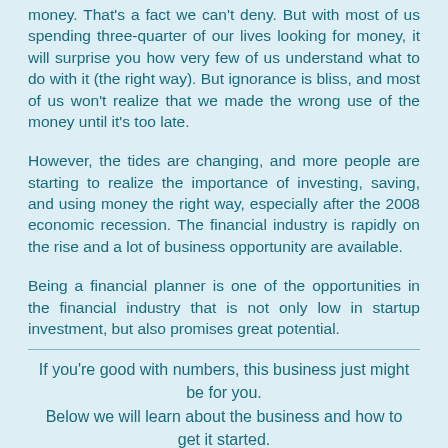money. That's a fact we can't deny. But with most of us spending three-quarter of our lives looking for money, it will surprise you how very few of us understand what to do with it (the right way). But ignorance is bliss, and most of us won't realize that we made the wrong use of the money until it's too late.
However, the tides are changing, and more people are starting to realize the importance of investing, saving, and using money the right way, especially after the 2008 economic recession. The financial industry is rapidly on the rise and a lot of business opportunity are available.
Being a financial planner is one of the opportunities in the financial industry that is not only low in startup investment, but also promises great potential.
If you're good with numbers, this business just might be for you.
Below we will learn about the business and how to get it started.
1. Startup Investment